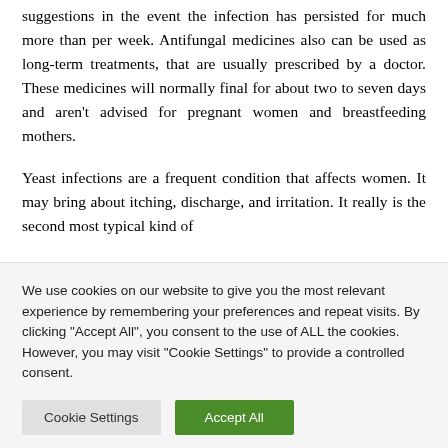suggestions in the event the infection has persisted for much more than per week. Antifungal medicines also can be used as long-term treatments, that are usually prescribed by a doctor. These medicines will normally final for about two to seven days and aren't advised for pregnant women and breastfeeding mothers.
Yeast infections are a frequent condition that affects women. It may bring about itching, discharge, and irritation. It really is the second most typical kind of
We use cookies on our website to give you the most relevant experience by remembering your preferences and repeat visits. By clicking "Accept All", you consent to the use of ALL the cookies. However, you may visit "Cookie Settings" to provide a controlled consent.